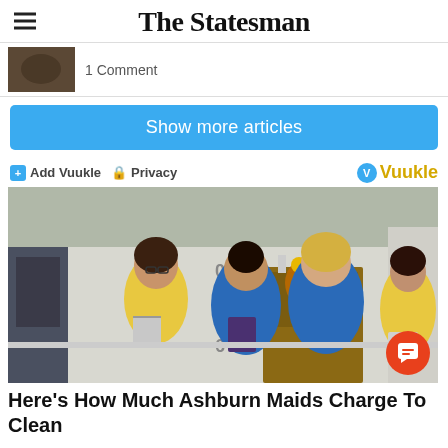The Statesman
1 Comment
Show more articles
Add Vuukle  Privacy  Vuukle
[Figure (photo): Four women in cleaning uniforms (yellow and blue polo shirts) standing on a porch in front of a house with a floral wreath on the door, holding cleaning supplies and buckets.]
Here's How Much Ashburn Maids Charge To Clean